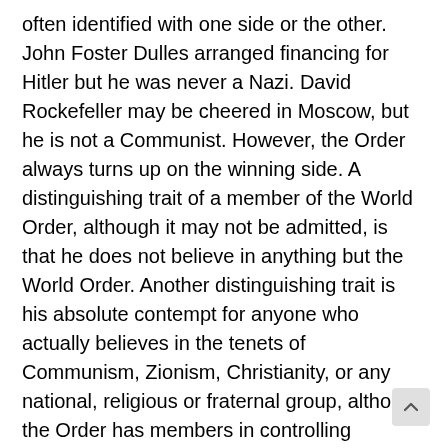often identified with one side or the other. John Foster Dulles arranged financing for Hitler but he was never a Nazi. David Rockefeller may be cheered in Moscow, but he is not a Communist. However, the Order always turns up on the winning side. A distinguishing trait of a member of the World Order, although it may not be admitted, is that he does not believe in anything but the World Order. Another distinguishing trait is his absolute contempt for anyone who actually believes in the tenets of Communism, Zionism, Christianity, or any national, religious or fraternal group, although the Order has members in controlling positions in all of these groups. If you are a sincere Christian, Zionist or Moslem, the World Order regards you as a moron unworthy of respect. You can and will b used, but you will never be respected.